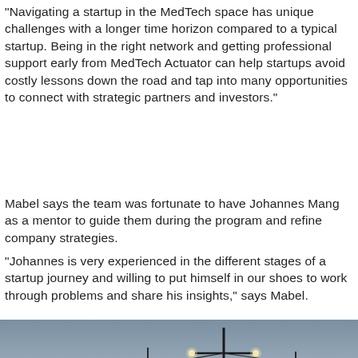“Navigating a startup in the MedTech space has unique challenges with a longer time horizon compared to a typical startup. Being in the right network and getting professional support early from MedTech Actuator can help startups avoid costly lessons down the road and tap into many opportunities to connect with strategic partners and investors.”
Mabel says the team was fortunate to have Johannes Mang as a mentor to guide them during the program and refine company strategies.
“Johannes is very experienced in the different stages of a startup journey and willing to put himself in our shoes to work through problems and share his insights,” says Mabel.
[Figure (photo): Cityscape at dusk with street lights and utility poles silhouetted against a gradient sky from warm orange at the horizon to grey-blue above.]